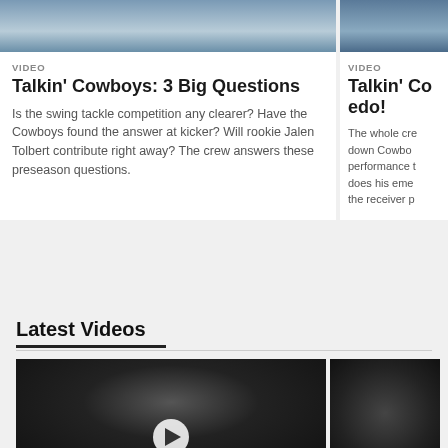[Figure (photo): Sports photo thumbnail, partially visible, blueish tones, top of left card]
VIDEO
Talkin' Cowboys: 3 Big Questions
Is the swing tackle competition any clearer? Have the Cowboys found the answer at kicker? Will rookie Jalen Tolbert contribute right away? The crew answers these preseason questions.
[Figure (photo): Sports photo thumbnail, partially visible, blueish tones, top of right card]
VIDEO
Talkin' Co
edo!
The whole cre
down Cowbo
performance t
does his eme
the receiver p
Latest Videos
[Figure (photo): Dark video thumbnail with play button, latest videos section, left thumbnail]
[Figure (photo): Dark video thumbnail, latest videos section, right thumbnail partially visible]